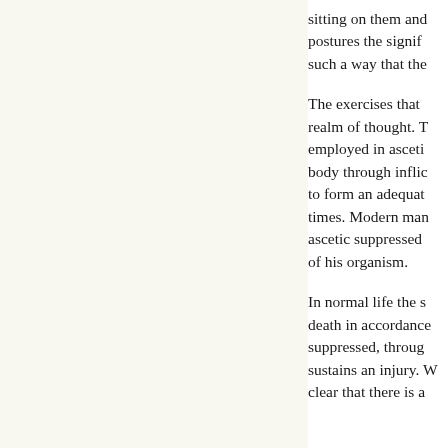sitting on them and postures the signif such a way that the
The exercises that realm of thought. T employed in asceti body through inflic to form an adequat times. Modern man ascetic suppressed of his organism.
In normal life the s death in accordance suppressed, throug sustains an injury. W clear that there is a